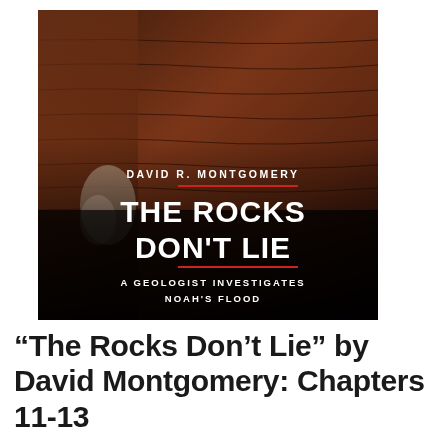[Figure (illustration): Book cover of 'The Rocks Don't Lie: A Geologist Investigates Noah's Flood' by David R. Montgomery. Features a dramatic photo of layered red rock cliff face. Title in large bold white letters on dark background, author name and subtitle in smaller white text. A red horizontal rule above and below the main title.]
“The Rocks Don’t Lie” by David Montgomery: Chapters 11-13